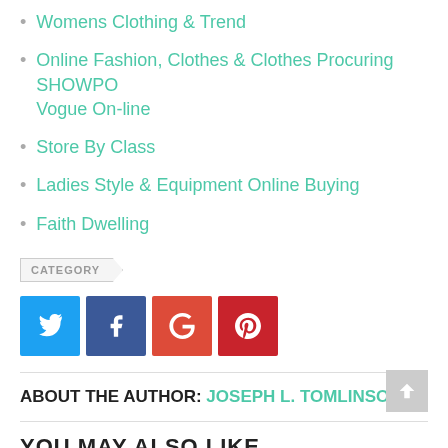Womens Clothing & Trend
Online Fashion, Clothes & Clothes Procuring SHOWPO Vogue On-line
Store By Class
Ladies Style & Equipment Online Buying
Faith Dwelling
CATEGORY
[Figure (infographic): Social share buttons: Twitter (blue), Facebook (dark blue), Google+ (orange-red), Pinterest (red)]
ABOUT THE AUTHOR: JOSEPH L. TOMLINSON
YOU MAY ALSO LIKE